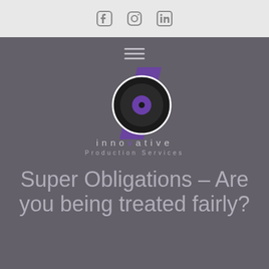[Facebook icon] [Instagram icon] [LinkedIn icon]
[Figure (logo): Hamburger menu icon (three horizontal lines) above the Innovative Production Services logo. The logo features a purple diagonal slash shape behind a dark circular disc element with a purple inner circle. Below the graphic: 'innovative' in spaced light lettering with a purple 'v', and 'Production Services' in spaced lighter text beneath.]
Super Obligations – Are you being treated fairly?